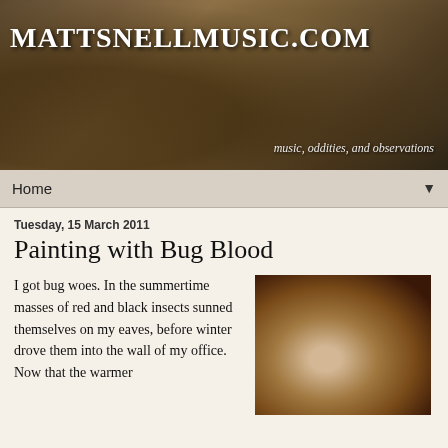[Figure (photo): Sepia-toned header photograph showing a man in a horse-drawn carriage with a large animal in the foreground, serving as the blog header background]
MATTSNELLMUSIC.COM
music, oddities, and observations
Home
Tuesday, 15 March 2011
Painting with Bug Blood
I got bug woes. In the summertime masses of red and black insects sunned themselves on my eaves, before winter drove them into the wall of my office.  Now that the warmer
[Figure (photo): Close-up sepia-toned photograph of a bug/insect]